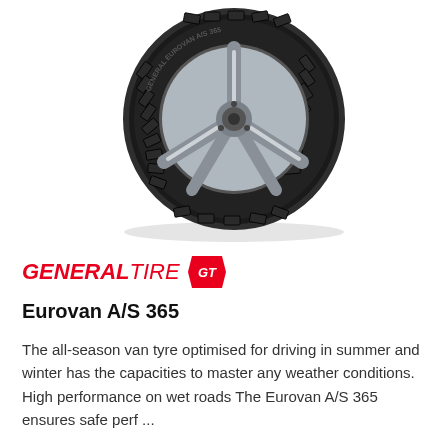[Figure (photo): A General Tire Eurovan A/S 365 tyre shown from the front at a slight angle, displaying the tread pattern and silver alloy rim on a white background.]
[Figure (logo): General Tire logo: italic bold red 'GENERAL' text followed by italic red 'TIRE' text and a red shield badge with 'GT' initials.]
Eurovan A/S 365
The all-season van tyre optimised for driving in summer and winter has the capacities to master any weather conditions.   High performance on wet roads The Eurovan A/S 365 ensures safe perf ...